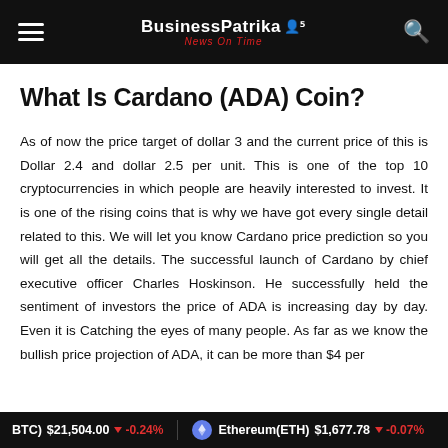BusinessPatrika News On Time
What Is Cardano (ADA) Coin?
As of now the price target of dollar 3 and the current price of this is Dollar 2.4 and dollar 2.5 per unit. This is one of the top 10 cryptocurrencies in which people are heavily interested to invest. It is one of the rising coins that is why we have got every single detail related to this. We will let you know Cardano price prediction so you will get all the details. The successful launch of Cardano by chief executive officer Charles Hoskinson. He successfully held the sentiment of investors the price of ADA is increasing day by day. Even it is Catching the eyes of many people. As far as we know the bullish price projection of ADA, it can be more than $4 per
BTC) $21,504.00 -0.24%   Ethereum(ETH) $1,677.78 -0.07%